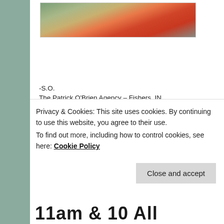[Figure (photo): Outdoor sports/activity photo showing traffic cones and people on pavement, partially visible at top of page]
-S.O.
The Patrick O'Brien Agency – Fishers, IN
Posted in Agency Information, Family Fun | Tagged american family insurance, best insurance company, cheerleader, children, Colts, community, customer, donation, Entertain, fishers, Friday night football tour, fundraising, giving back, high school football, Indiana... (partially visible)
Privacy & Cookies: This site uses cookies. By continuing to use this website, you agree to their use.
To find out more, including how to control cookies, see here: Cookie Policy
Close and accept
11am & 10 All